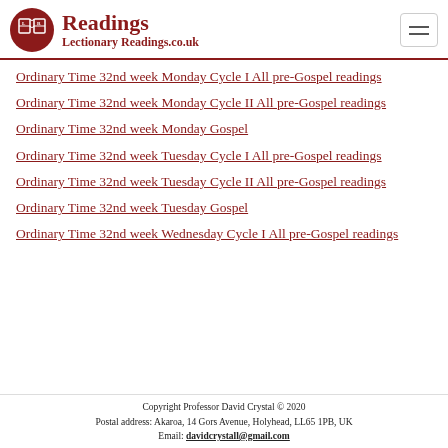Readings
Lectionary Readings.co.uk
Ordinary Time 32nd week Monday Cycle I All pre-Gospel readings
Ordinary Time 32nd week Monday Cycle II All pre-Gospel readings
Ordinary Time 32nd week Monday Gospel
Ordinary Time 32nd week Tuesday Cycle I All pre-Gospel readings
Ordinary Time 32nd week Tuesday Cycle II All pre-Gospel readings
Ordinary Time 32nd week Tuesday Gospel
Ordinary Time 32nd week Wednesday Cycle I All pre-Gospel readings
Copyright Professor David Crystal © 2020
Postal address: Akaroa, 14 Gors Avenue, Holyhead, LL65 1PB, UK
Email: davidcrystall@gmail.com